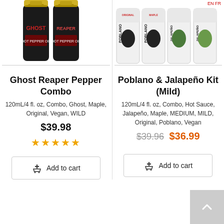[Figure (photo): Two dark bottles of Ghost and Reaper hot pepper sauces]
[Figure (photo): Four cans of Poblano and Jalapeño hot sauce combos]
Ghost Reaper Pepper Combo
120mL/4 fl. oz, Combo, Ghost, Maple, Original, Vegan, WILD
$39.98
★★★★★
Poblano & Jalapeño Kit (Mild)
120mL/4 fl. oz, Combo, Hot Sauce, Jalapeño, Maple, MEDIUM, MILD, Original, Poblano, Vegan
$39.96 $36.99
Add to cart
Add to cart